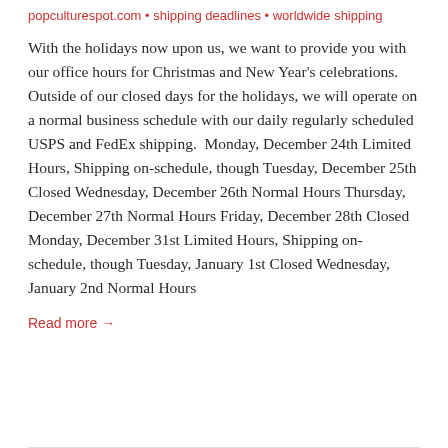popculturespot.com • shipping deadlines • worldwide shipping
With the holidays now upon us, we want to provide you with our office hours for Christmas and New Year's celebrations. Outside of our closed days for the holidays, we will operate on a normal business schedule with our daily regularly scheduled USPS and FedEx shipping. Monday, December 24th Limited Hours, Shipping on-schedule, though Tuesday, December 25th Closed Wednesday, December 26th Normal Hours Thursday, December 27th Normal Hours Friday, December 28th Closed Monday, December 31st Limited Hours, Shipping on-schedule, though Tuesday, January 1st Closed Wednesday, January 2nd Normal Hours
Read more →